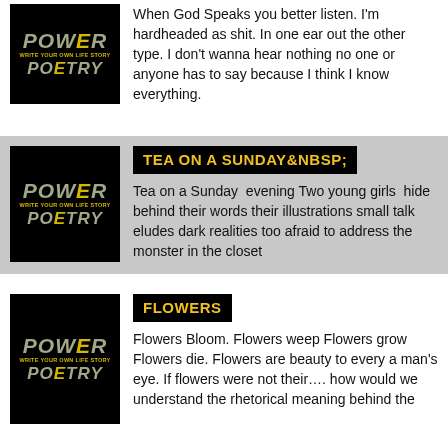[Figure (illustration): Power to Poetry logo on black background - top card]
When God Speaks you better listen. I'm hardheaded as shit. In one ear out the other type. I don't wanna hear nothing no one or anyone has to say because I think I know everything.
[Figure (illustration): Power to Poetry logo on black background - middle card]
TEA ON A SUNDAY ;
Tea on a Sunday  evening Two young girls  hide behind their words their illustrations small talk eludes dark realities too afraid to address the monster in the closet
[Figure (illustration): Power to Poetry logo on black background - bottom card]
FLOWERS
Flowers Bloom. Flowers weep Flowers grow Flowers die. Flowers are beauty to every a man's eye. If flowers were not their…. how would we understand the rhetorical meaning behind the